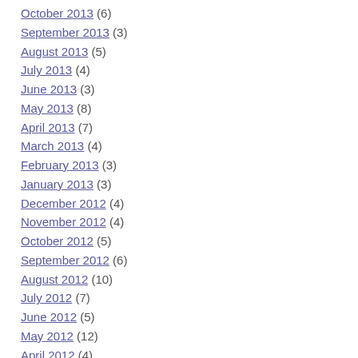October 2013 (6)
September 2013 (3)
August 2013 (5)
July 2013 (4)
June 2013 (3)
May 2013 (8)
April 2013 (7)
March 2013 (4)
February 2013 (3)
January 2013 (3)
December 2012 (4)
November 2012 (4)
October 2012 (5)
September 2012 (6)
August 2012 (10)
July 2012 (7)
June 2012 (5)
May 2012 (12)
April 2012 (4)